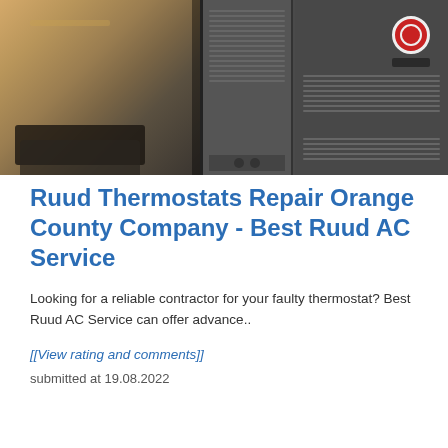[Figure (photo): Photo showing two HVAC/furnace units (gray metal units with grilles) on the right and a blurred warm-toned interior scene on the left. A Ruud logo badge is visible on the right unit.]
Ruud Thermostats Repair Orange County Company - Best Ruud AC Service
Looking for a reliable contractor for your faulty thermostat? Best Ruud AC Service can offer advance..
[[View rating and comments]]
submitted at 19.08.2022